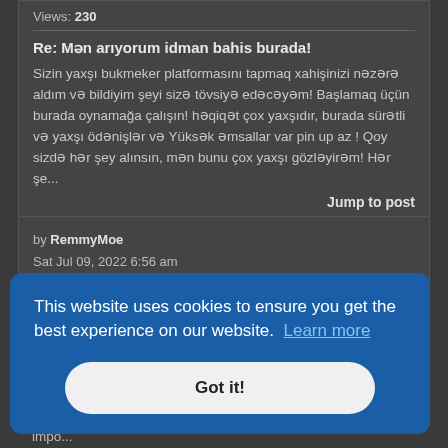Views: 230
Re: Mən arıyorum idman bahis burada!
Sizin yaxşı bukmeker platformasını tapmaq xahişinizi nəzərə aldım və bildiyim şeyi sizə tövsiyə edəcəyəm! Başlamaq üçün burada oynamağa çalışın! həqiqət çox yaxşıdır, burada sürətli və yaxşı ödənişlər və Yüksək əmsallar var pin up az ! Qoy sizdə hər şey alınsın, mən bunu çox yaxşı gözləyirəm! Hər şe...
Jump to post
by RemmyMoe
Sat Jul 09, 2022 6:56 am
Forum: General discussion
Topic: Necesito encontrar una buena casa de apuestas
Replies: 1
...ores
vo es
na
impo...
This website uses cookies to ensure you get the best experience on our website. Learn more
Got it!